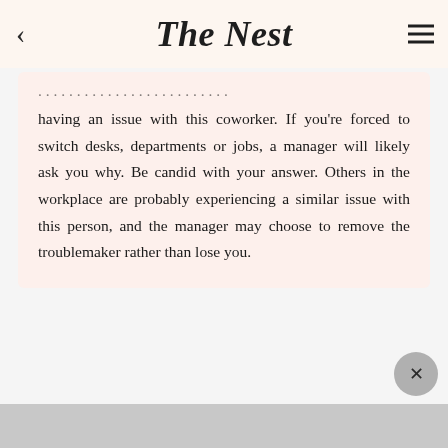The Nest
having an issue with this coworker. If you're forced to switch desks, departments or jobs, a manager will likely ask you why. Be candid with your answer. Others in the workplace are probably experiencing a similar issue with this person, and the manager may choose to remove the troublemaker rather than lose you.